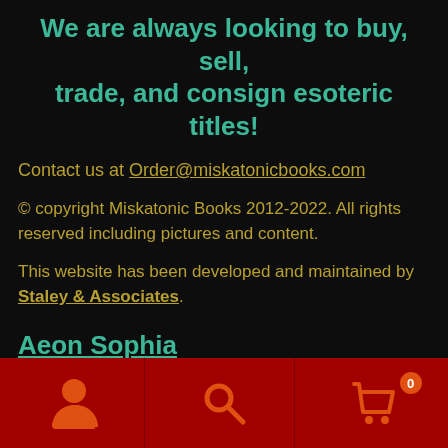We are always looking to buy, sell, trade, and consign esoteric titles!
Contact us at Order@miskatonicbooks.com
© copyright Miskatonic Books 2012-2022. All rights reserved including pictures and content.
This website has been developed and maintained by Staley & Associates.
Aeon Sophia Press Alchemy Aleister Crowley Andrew Chumbley Angels Become a Living God Black Magic Black magick
User icon | Search icon | Cart icon with badge 0